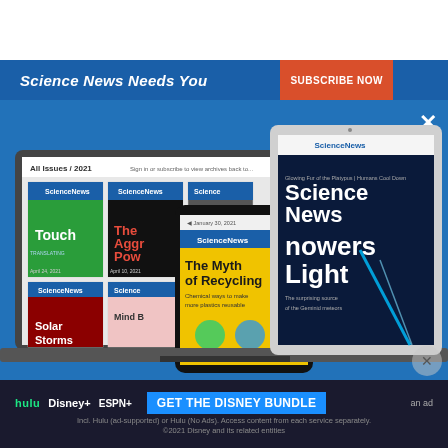[Figure (screenshot): Science News Needs You subscription banner with blue background showing devices (laptop, tablet, phone) displaying Science News magazine covers and issues. Bottom has Disney Bundle advertisement.]
Science News Needs You
GET THE DISNEY BUNDLE
Incl. Hulu (ad-supported) or Hulu (No Ads). Access content from each service separately. ©2021 Disney and its related entities